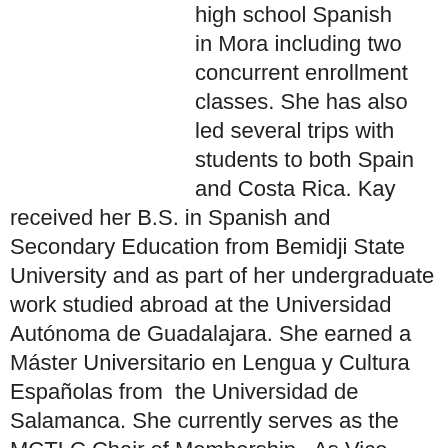high school Spanish in Mora including two concurrent enrollment classes. She has also led several trips with students to both Spain and Costa Rica. Kay received her B.S. in Spanish and Secondary Education from Bemidji State University and as part of her undergraduate work studied abroad at the Universidad Autónoma de Guadalajara. She earned a Máster Universitario en Lengua y Cultura Españolas from  the Universidad de Salamanca. She currently serves as the MCTLC Chair of Membership.  As Vice-president she looks forward to encouraging more members to get involved in MCTLC in order to incorporate more ideas on how we can serve our constituents.